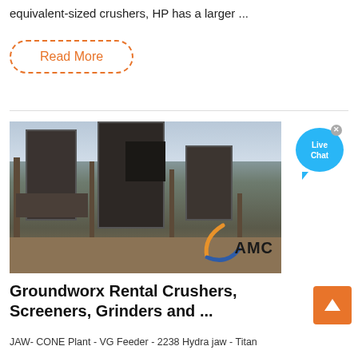equivalent-sized crushers, HP has a larger ...
Read More
[Figure (photo): Industrial crushing and screening plant equipment on a construction/mining site with metal frames and conveyors, AMC logo watermark visible on image]
[Figure (infographic): Live Chat bubble icon in blue on right side]
Groundworx Rental Crushers, Screeners, Grinders and ...
JAW- CONE Plant - VG Feeder - 2238 Hydra jaw - Titan ...